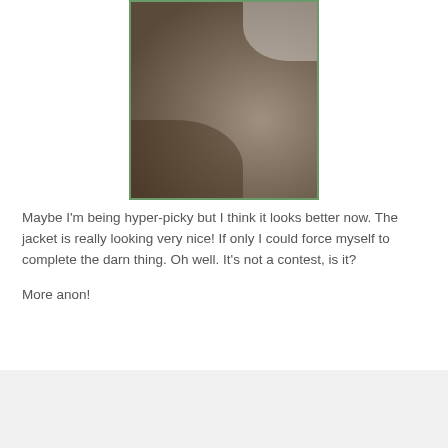[Figure (photo): Close-up photo of a grey/brown jacket fabric, showing the back or side panel of the jacket with visible seams and stitching. The image has a green border. Background shows a glimpse of a room.]
Maybe I'm being hyper-picky but I think it looks better now. The jacket is really looking very nice! If only I could force myself to complete the darn thing. Oh well. It's not a contest, is it?
More anon!